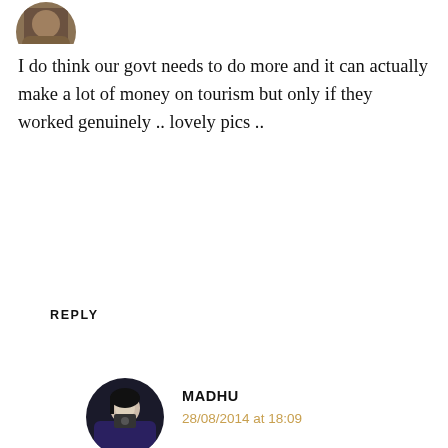[Figure (photo): Circular avatar photo of a person, partially visible at top of page]
I do think our govt needs to do more and it can actually make a lot of money on tourism but only if they worked genuinely .. lovely pics ..
REPLY
[Figure (photo): Circular avatar photo of Madhu, a woman holding a camera]
MADHU
28/08/2014 at 18:09
The Urge To Wander uses cookies to enhance your experience on this website. By continuing to use the site you consent to our cookies. Privacy Policy
OK